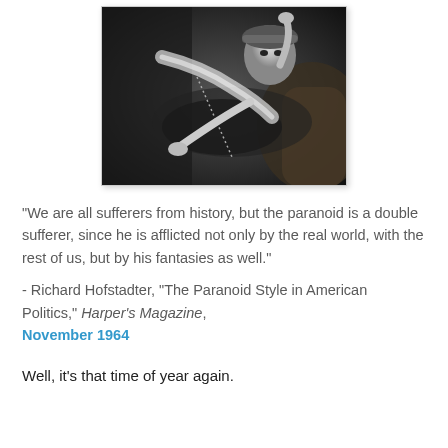[Figure (photo): Black and white photograph of a woman in 1920s flapper costume with feathers and beads, reclining on a couch or chair]
"We are all sufferers from history, but the paranoid is a double sufferer, since he is afflicted not only by the real world, with the rest of us, but by his fantasies as well."
- Richard Hofstadter, "The Paranoid Style in American Politics," Harper's Magazine, November 1964
Well, it's that time of year again.